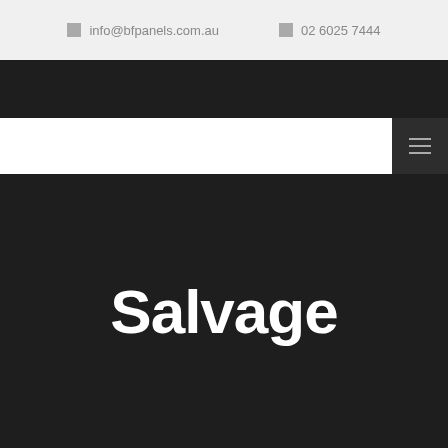✉ info@bfpanels.com.au   ☎ 02 6025 7444
Salvage